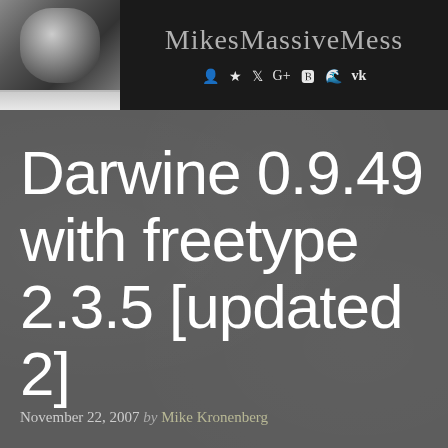[Figure (photo): Black and white portrait photo of a person's face close-up, in the top-left corner of the header bar]
MikesMassiveMess
Darwine 0.9.49 with freetype 2.3.5 [updated 2]
November 22, 2007 by Mike Kronenberg